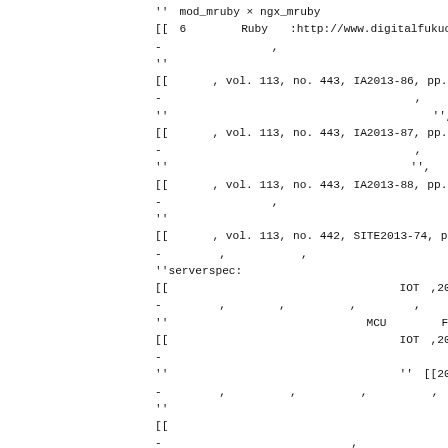''□mod_mruby × ngx_mruby□ □□□□□□□□□□□□□□□□□□□□□Web□□□
[[□6□□□□□Ruby□□:http://www.digitalfukuoka.jp/topics/28
-□□□□□□□□□□,
''□□□□□□□□□□□□□□□□□□□□□□□□□□□Packet-In□□□□□□□□□□''
[[□□□□, vol. 113, no. 443, IA2013-86, pp. 43-48:http:/
-□□□□□□□□□□□□□□□□□□□□□□□,
''□□□□□□□□□□□□□□□□□□□□□□□□'',
[[□□□□, vol. 113, no. 443, IA2013-87, pp. 61-66:http:/
-□□□□□□□□□□□□□□□□□□□□□□□,
''□□□□□□□□□□□□□□□□□□□□□□'',
[[□□□□, vol. 113, no. 443, IA2013-88, pp. 67-72:http:/
-□□□□□□□□□□,
''□□□□□□□□□□□□□□□□□□□□□□□□□□□□□□□□□□□'',
[[□□□□, vol. 113, no. 442, SITE2013-74, pp. 189-193:ht
-□□ □□ , □□ □□□ , □□ □□
''serverspec: □□□□□□□□□□□□□□□□□□□□□□□□□□□□□□□□□□'',
[[□□□□□□□□□□□□□□□□□□□□□IOT□,2014-IOT-24(15),1-6:http
-□□ □□ , □□ □ , □□ □□ , □□ □□,
''□□□□□□□□□□□□□□□□□□MCU□□□□□FaMCUs□□□'',
[[□□□□□□□□□□□□□□□□□□□□□IOT□,2014-IOT-24(4),1-6:https
-□□□□□□□□□□□□□□
''□□□□□□□□□□□□□□□□□□□□□''□[[2013□□□□LA□□□□□□:http://
-□□ □□ , □□ □□ , □□ □□ , □□ □□ , □□ □ , □□ □□□ , □□ □□
''□□□□□□□□□□□□□□□□□□□□□□□□□□□□□□□□□''
[[□□□□□□□□□□□ □□□□□□□□□□□□□□□CDS□,2014-CDS-9(20),1-8:
-□□□□□□□□□□□ □□□ □□,
''□□□□□□□□□□□□□□□□□□□□□□□□□□□'',
□□□□□□□□□□□□[[2013-12-IN-IA:http://www.ieice.org/ken/p
-□□□□□□□□□□□□□□□,